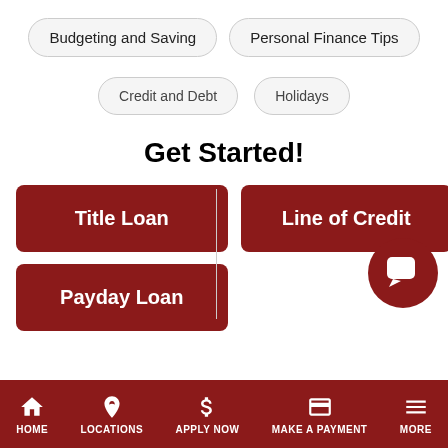Budgeting and Saving
Personal Finance Tips
Credit and Debt
Holidays
Get Started!
Title Loan
Line of Credit
Payday Loan
HOME   LOCATIONS   APPLY NOW   MAKE A PAYMENT   MORE